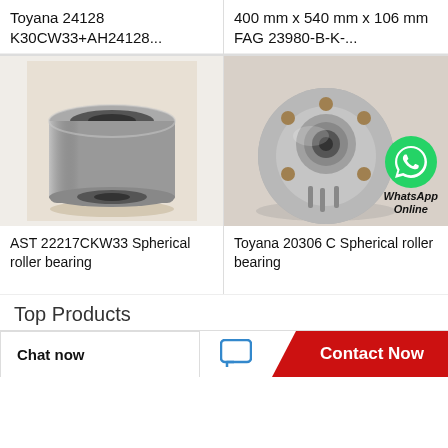Toyana 24128 K30CW33+AH24128...
400 mm x 540 mm x 106 mm FAG 23980-B-K-...
[Figure (photo): Cylindrical roller bearing, grey metal, AST 22217CKW33]
[Figure (photo): Wheel hub bearing with WhatsApp Online badge, Toyana 20306 C]
AST 22217CKW33 Spherical roller bearing
Toyana 20306 C Spherical roller bearing
Top Products
Chat now
Contact Now